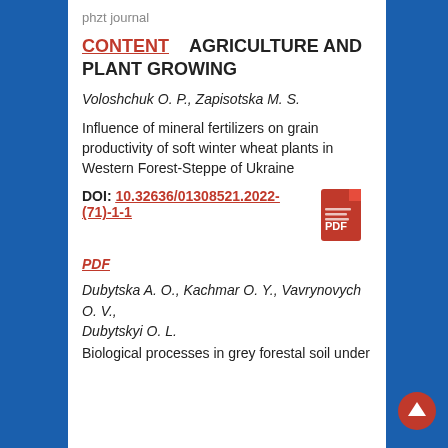phzt journal
CONTENT   AGRICULTURE AND PLANT GROWING
Voloshchuk O. P., Zapisotska M. S.
Influence of mineral fertilizers on grain productivity of soft winter wheat plants in Western Forest-Steppe of Ukraine
DOI: 10.32636/01308521.2022-(71)-1-1
PDF
Dubytska A. O., Kachmar O. Y., Vavrynovych O. V., Dubytskyi O. L.
Biological processes in grey forestal soil under...